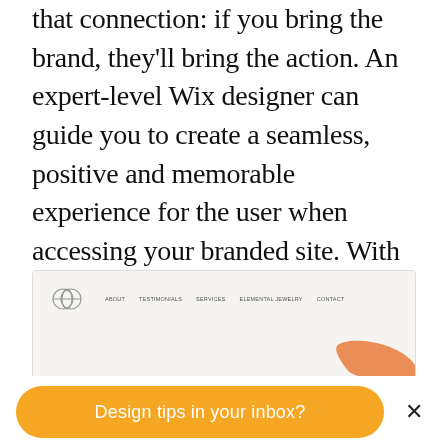that connection: if you bring the brand, they'll bring the action. An expert-level Wix designer can guide you to create a seamless, positive and memorable experience for the user when accessing your branded site. With all that spare time you can focus your attention elsewhere in building up your brand and attracting your audience.
[Figure (screenshot): Screenshot of a Wix website with a navigation bar showing logo, About, Testimonials, Services, Elemental Jewelry, Contact links, and a colorful abstract swirl illustration in orange, teal, and pink on a light beige background, with partial italic text at the bottom reading 'Elemental Sto[re]']
Design tips in your inbox?